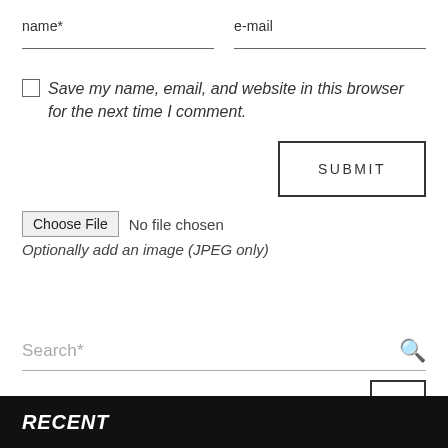name*
e-mail
Save my name, email, and website in this browser for the next time I comment.
SUBMIT
Choose File  No file chosen
Optionally add an image (JPEG only)
Search*
RECENT